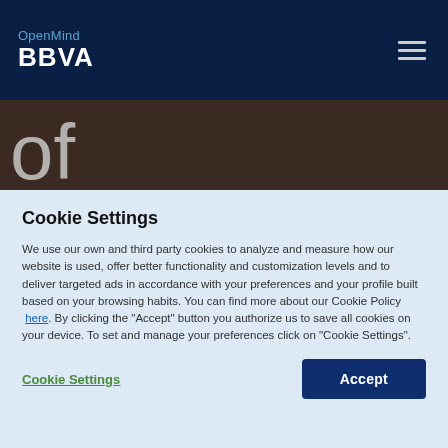OpenMind BBVA
[Figure (photo): Dark brown background image with large light gray text reading 'Emperor of Japan' partially visible]
Cookie Settings
We use our own and third party cookies to analyze and measure how our website is used, offer better functionality and customization levels and to deliver targeted ads in accordance with your preferences and your profile built based on your browsing habits. You can find more about our Cookie Policy here. By clicking the "Accept" button you authorize us to save all cookies on your device. To set and manage your preferences click on "Cookie Settings".
Cookie Settings
Accept